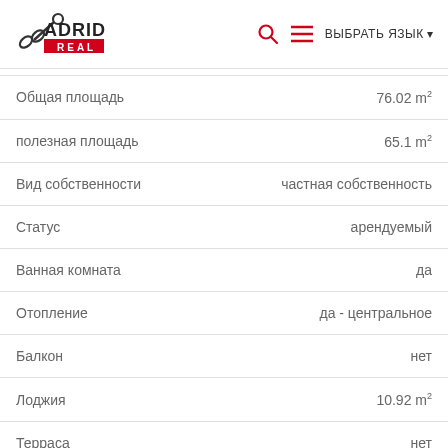ADRID REAL — ВЫБРАТЬ ЯЗЫК
| Параметр | Значение |
| --- | --- |
| Общая площадь | 76.02 m² |
| полезная площадь | 65.1 m² |
| Вид собственности | частная собственность |
| Статус | арендуемый |
| Ванная комната | да |
| Отопление | да - центральное |
| Балкон | нет |
| Лоджия | 10.92 m² |
| Терраса | нет |
| П... |  |